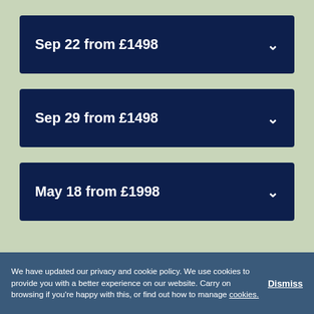Sep 22 from £1498
Sep 29 from £1498
May 18 from £1998
We have updated our privacy and cookie policy. We use cookies to provide you with a better experience on our website. Carry on browsing if you're happy with this, or find out how to manage cookies.
Dismiss